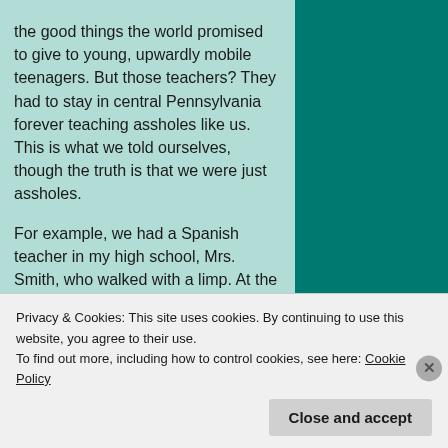the good things the world promised to give to young, upwardly mobile teenagers. But those teachers? They had to stay in central Pennsylvania forever teaching assholes like us. This is what we told ourselves, though the truth is that we were just assholes.

For example, we had a Spanish teacher in my high school, Mrs. Smith, who walked with a limp. At the time, I had no idea why she limped. It never occurred to me to ask. What I did do, though, is laugh whenever my classmates gave her a hard time, which was pretty much all the time. This was partly her fault, of course—
Privacy & Cookies: This site uses cookies. By continuing to use this website, you agree to their use.
To find out more, including how to control cookies, see here: Cookie Policy